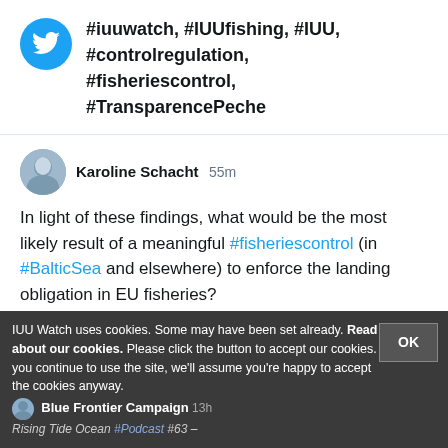#iuuwatch, #IUUfishing, #IUU, #controlregulation, #fisheriescontrol, #TransparencePeche
Karoline Schacht 55m
In light of these findings, what would be the most likely result of a meaningful #fisheriescontrol (in #BalticSea and elsewhere) to enforce the landing obligation in EU fisheries? https://t.co/PsuK6ZBn84
IUU Watch uses cookies. Some may have been set already. Read about our cookies. Please click the button to accept our cookies. If you continue to use the site, we'll assume you're happy to accept the cookies anyway.
Blue Frontier Campaign 13h
Rising Tide Ocean #Podcast #63 –